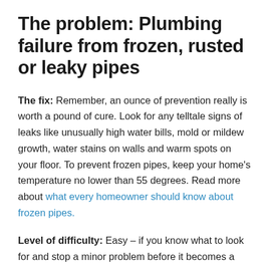The problem: Plumbing failure from frozen, rusted or leaky pipes
The fix: Remember, an ounce of prevention really is worth a pound of cure. Look for any telltale signs of leaks like unusually high water bills, mold or mildew growth, water stains on walls and warm spots on your floor. To prevent frozen pipes, keep your home's temperature no lower than 55 degrees. Read more about what every homeowner should know about frozen pipes.
Level of difficulty: Easy – if you know what to look for and stop a minor problem before it becomes a bigger